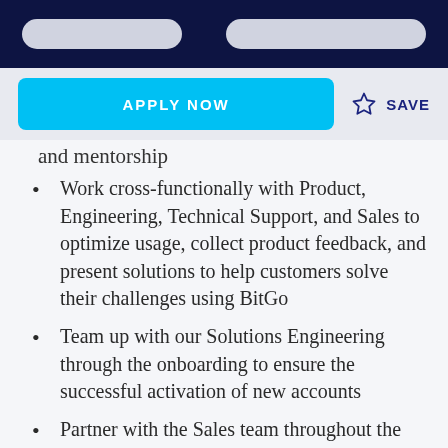[navigation bar with logo and menu pills]
APPLY NOW | SAVE
and mentorship
Work cross-functionally with Product, Engineering, Technical Support, and Sales to optimize usage, collect product feedback, and present solutions to help customers solve their challenges using BitGo
Team up with our Solutions Engineering through the onboarding to ensure the successful activation of new accounts
Partner with the Sales team throughout the customer lifecycle to prevent churn and ensure renewals
Skills & Experience: